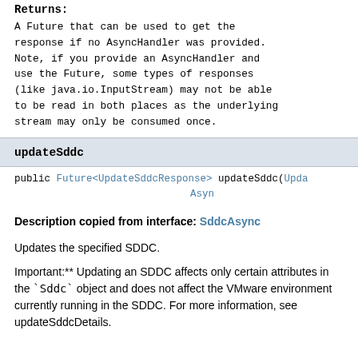Returns:
A Future that can be used to get the response if no AsyncHandler was provided. Note, if you provide an AsyncHandler and use the Future, some types of responses (like java.io.InputStream) may not be able to be read in both places as the underlying stream may only be consumed once.
updateSddc
public Future<UpdateSddcResponse> updateSddc(Upda Asyn
Description copied from interface: SddcAsync
Updates the specified SDDC.
Important:** Updating an SDDC affects only certain attributes in the `Sddc` object and does not affect the VMware environment currently running in the SDDC. For more information, see updateSddcDetails.